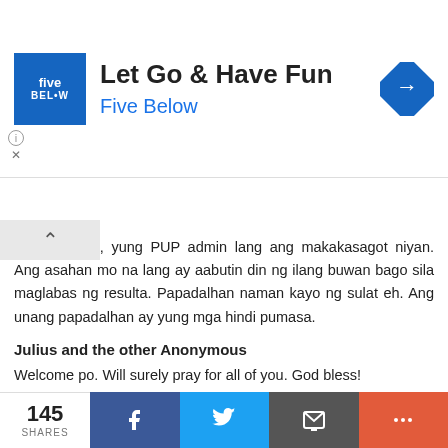[Figure (screenshot): Five Below advertisement banner with logo, title 'Let Go & Have Fun', subtitle 'Five Below', and a blue diamond arrow icon]
exam results, yung PUP admin lang ang makakasagot niyan. Ang asahan mo na lang ay aabutin din ng ilang buwan bago sila maglabas ng resulta. Papadalhan naman kayo ng sulat eh. Ang unang papadalhan ay yung mga hindi pumasa.
Julius and the other Anonymous
Welcome po. Will surely pray for all of you. God bless!
Reply
illuminatidestroyer January 20, 2012 at 7:01 PM
i just wanna ask po sana kung kaylan po ung sinasabing interview pra dun sa chosen course 2.. sa mismong day dn
145 SHARES